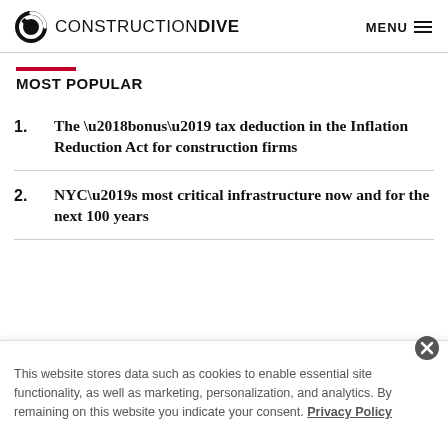CONSTRUCTION DIVE | MENU
MOST POPULAR
1. The ‘bonus’ tax deduction in the Inflation Reduction Act for construction firms
2. NYC’s most critical infrastructure now and for the next 100 years
This website stores data such as cookies to enable essential site functionality, as well as marketing, personalization, and analytics. By remaining on this website you indicate your consent. Privacy Policy